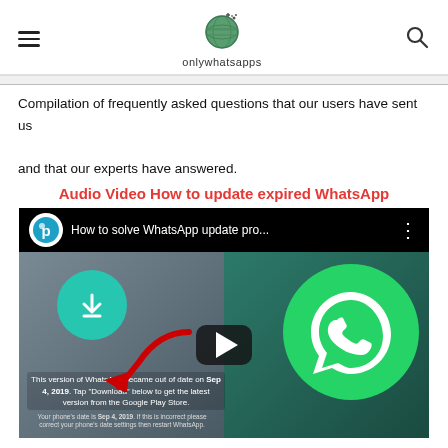onlywhatsapps
Compilation of frequently asked questions that our users have sent us and that our experts have answered.
Audio Video How to update expired WhatsApp
[Figure (screenshot): YouTube-style embedded video thumbnail showing 'How to solve WhatsApp update pro...' with a WhatsApp logo, a download icon with a red arrow, and a play button overlay. Includes text about WhatsApp version out of date on Sep 4, 2019.]